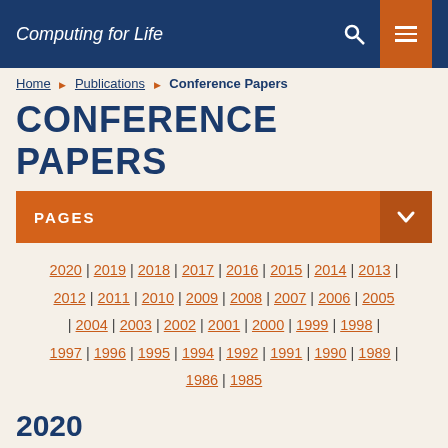Computing for Life
Home > Publications > Conference Papers
CONFERENCE PAPERS
PAGES
2020 | 2019 | 2018 | 2017 | 2016 | 2015 | 2014 | 2013 | 2012 | 2011 | 2010 | 2009 | 2008 | 2007 | 2006 | 2005 | 2004 | 2003 | 2002 | 2001 | 2000 | 1999 | 1998 | 1997 | 1996 | 1995 | 1994 | 1992 | 1991 | 1990 | 1989 | 1986 | 1985
2020
M. Cook, A. Zare, P. D. Gader, “Outlier Detection through